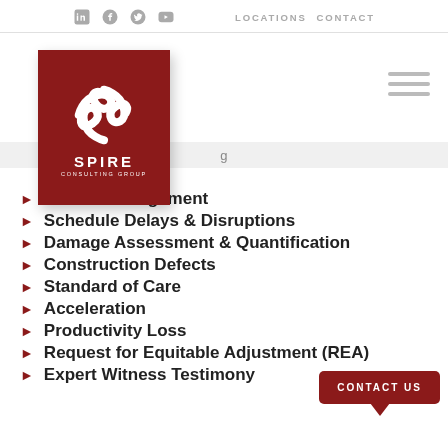Social icons | LOCATIONS  CONTACT
[Figure (logo): Spire Consulting Group logo — red square with white spiral S mark, text SPIRE CONSULTING GROUP]
Claims Management
Schedule Delays & Disruptions
Damage Assessment & Quantification
Construction Defects
Standard of Care
Acceleration
Productivity Loss
Request for Equitable Adjustment (REA)
Expert Witness Testimony